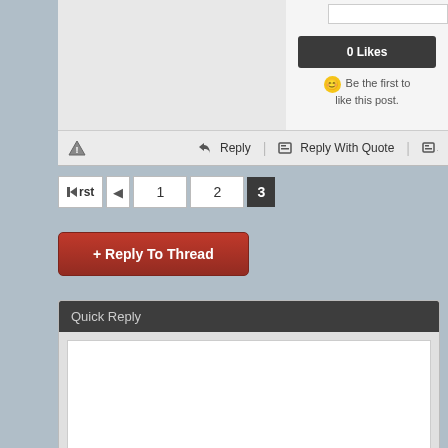[Figure (screenshot): Forum post action area with 0 Likes button and 'Be the first to like this post' text]
0 Likes
Be the first to like this post.
Reply | Reply With Quote |
First 1 2 3
+ Reply To Thread
Quick Reply